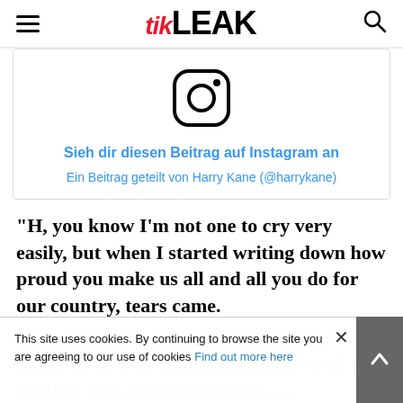TIK LEAK
[Figure (screenshot): Instagram embed placeholder showing Instagram camera icon, link 'Sieh dir diesen Beitrag auf Instagram an', and attribution 'Ein Beitrag geteilt von Harry Kane (@harrykane)']
"H, you know I'm not one to cry very easily, but when I started writing down how proud you make us all and all you do for our country, tears came.
I laughed at you when we first started dating, you were playing penalties with my brother Tom and the dog Seamus, and you said you'd be England captain one day. But that's you - you set yourself a goal and you achieve it. And you
This site uses cookies. By continuing to browse the site you are agreeing to our use of cookies Find out more here